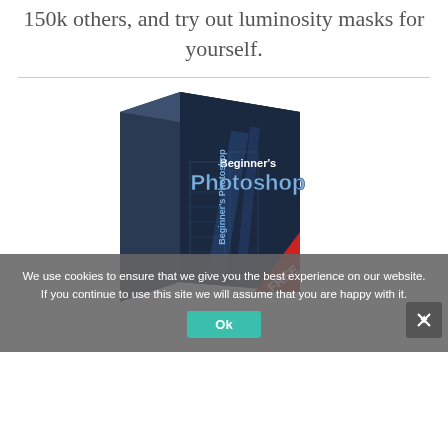150k others, and try out luminosity masks for yourself.
[Figure (illustration): Product box for Beginner's Photoshop course labeled FREE]
We use cookies to ensure that we give you the best experience on our website. If you continue to use this site we will assume that you are happy with it.